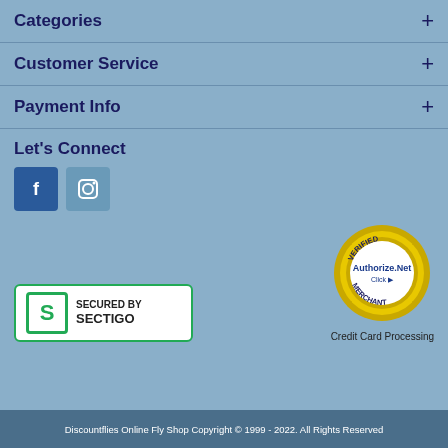Categories
Customer Service
Payment Info
Let's Connect
[Figure (logo): Facebook social media icon button (dark blue square with white 'f')]
[Figure (logo): Instagram social media icon button (steel blue square with white camera icon)]
[Figure (logo): Secured by Sectigo badge — white rounded rectangle with green border, green S logo, text 'SECURED BY SECTIGO']
[Figure (logo): Authorize.Net Verified Merchant badge — gold circular seal with text 'VERIFIED', 'Authorize.Net', 'Click', 'MERCHANT']
Credit Card Processing
Discountflies Online Fly Shop Copyright © 1999 - 2022. All Rights Reserved